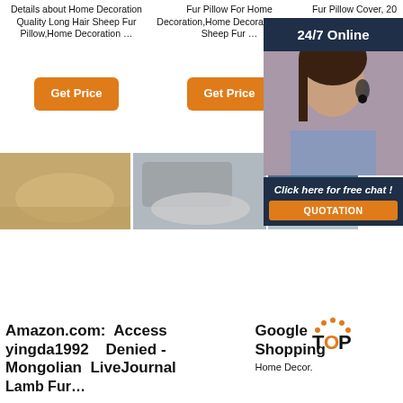Details about Home Decoration Quality Long Hair Sheep Fur Pillow,Home Decoration …
Fur Pillow For Home Decoration,Home Decoration,Tibet Sheep Fur …
Fur Pillow Cover, 20 x 20, Natural. $69.50. In Stock. Sold by SLPR and ship…
[Figure (other): Get Price orange button]
[Figure (other): Get Price orange button]
[Figure (other): Get Price orange button (partially visible)]
[Figure (photo): Photo of beige/tan sheep fur rug on wooden floor]
[Figure (photo): Photo of grey sheep fur rug on floor near sofa]
[Figure (photo): Photo of blue sofa with white fur rug, partially visible]
[Figure (other): 24/7 Online banner overlay with customer service agent photo and 'Click here for free chat! QUOTATION' button]
Amazon.com: Access Denied - Mongolian Lamb Fur…
yingda1992 LiveJournal
Google Shopping
Home Decor.
[Figure (logo): TOP logo with orange dots]